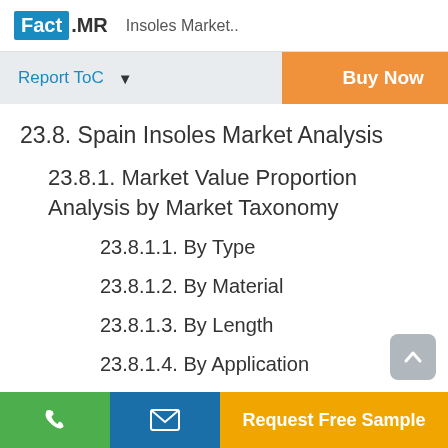Fact.MR Insoles Market..
Report ToC  ▼    Buy Now
23.8. Spain Insoles Market Analysis
23.8.1. Market Value Proportion Analysis by Market Taxonomy
23.8.1.1. By Type
23.8.1.2. By Material
23.8.1.3. By Length
23.8.1.4. By Application
📞  ✉  Request Free Sample